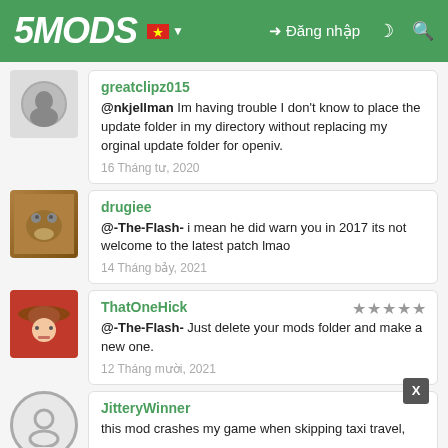5MODS | Đăng nhập
greatclipz015
@nkjellman Im having trouble I don't know to place the update folder in my directory without replacing my orginal update folder for openiv.
16 Tháng tư, 2020
drugiee
@-The-Flash- i mean he did warn you in 2017 its not welcome to the latest patch lmao
14 Tháng bảy, 2021
ThatOneHick
@-The-Flash- Just delete your mods folder and make a new one.
12 Tháng mười, 2021
JitteryWinner
this mod crashes my game when skipping taxi travel,